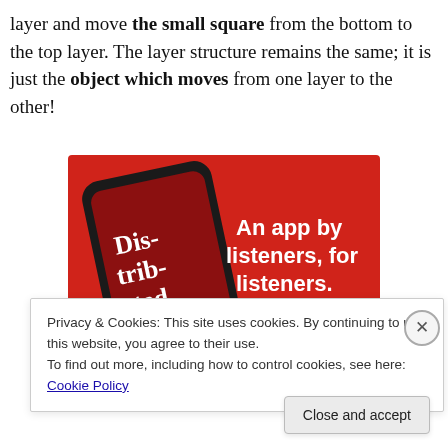layer and move the small square from the bottom to the top layer. The layer structure remains the same; it is just the object which moves from one layer to the other!
[Figure (screenshot): Advertisement for a podcast app showing a smartphone with 'Distributed' podcast playing, red background with white bold text reading 'An app by listeners, for listeners.' and a 'Download now' button.]
Privacy & Cookies: This site uses cookies. By continuing to use this website, you agree to their use.
To find out more, including how to control cookies, see here: Cookie Policy
Close and accept